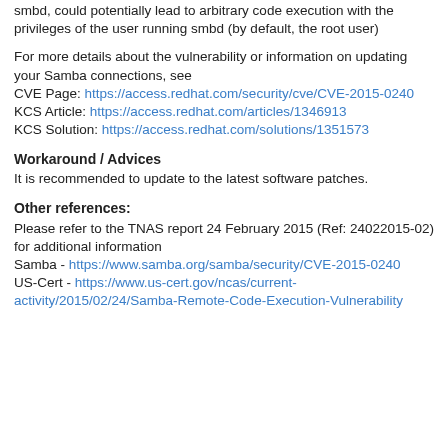smbd, could potentially lead to arbitrary code execution with the privileges of the user running smbd (by default, the root user)
For more details about the vulnerability or information on updating your Samba connections, see
CVE Page: https://access.redhat.com/security/cve/CVE-2015-0240
KCS Article: https://access.redhat.com/articles/1346913
KCS Solution: https://access.redhat.com/solutions/1351573
Workaround / Advices
It is recommended to update to the latest software patches.
Other references:
Please refer to the TNAS report 24 February 2015 (Ref: 24022015-02) for additional information
Samba - https://www.samba.org/samba/security/CVE-2015-0240
US-Cert - https://www.us-cert.gov/ncas/current-activity/2015/02/24/Samba-Remote-Code-Execution-Vulnerability